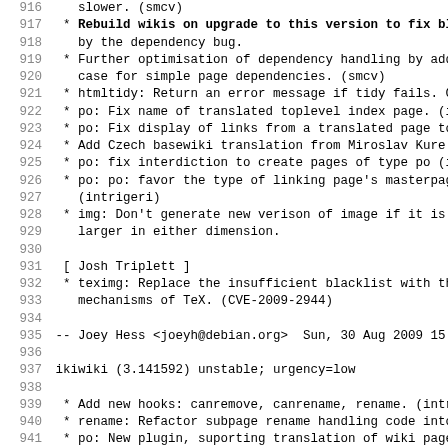Code/changelog listing, lines 916-947 of ikiwiki debian changelog
916     slower. (smcv)
917   * Rebuild wikis on upgrade to this version to fix blo
918     by the dependency bug.
919   * Further optimisation of dependency handling by addi
920     case for simple page dependencies. (smcv)
921   * htmltidy: Return an error message if tidy fails. Cl
922   * po: Fix name of translated toplevel index page. (in
923   * po: Fix display of links from a translated page to
924   * Add Czech basewiki translation from Miroslav Kure.
925   * po: fix interdiction to create pages of type po (in
926   * po: po: favor the type of linking page's masterpage
927     (intrigeri)
928   * img: Don't generate new verison of image if it is s
929     larger in either dimension.
930
931   [ Josh Triplett ]
932   * teximg: Replace the insufficient blacklist with the
933     mechanisms of TeX. (CVE-2009-2944)
934
935  -- Joey Hess <joeyh@debian.org>  Sun, 30 Aug 2009 15:2
936
937 ikiwiki (3.141592) unstable; urgency=low
938
939   * Add new hooks: canremove, canrename, rename. (intri
940   * rename: Refactor subpage rename handling code into
941   * po: New plugin, suporting translation of wiki pages
942     (intrigeri)
943   * Add build machinery to build po files to translate
944   * Add further build machinery to generate translated
945     the po file, for use by wikis whose primary languag
946   * Add Danish basewiki translation by Jonas Smedegaard
947   * img: Fix adding of dependency from page to the ima